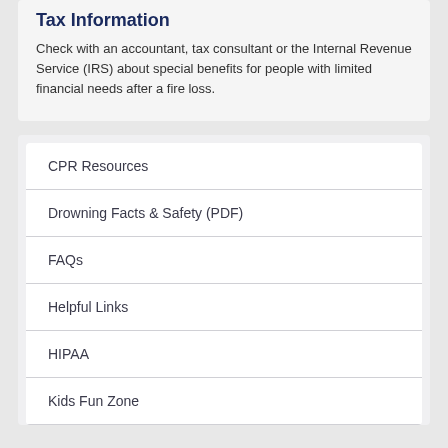Tax Information
Check with an accountant, tax consultant or the Internal Revenue Service (IRS) about special benefits for people with limited financial needs after a fire loss.
CPR Resources
Drowning Facts & Safety (PDF)
FAQs
Helpful Links
HIPAA
Kids Fun Zone